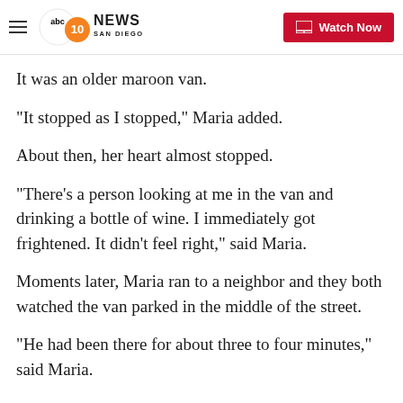ABC 10 News San Diego | Watch Now
It was an older maroon van.
"It stopped as I stopped," Maria added.
About then, her heart almost stopped.
"There's a person looking at me in the van and drinking a bottle of wine. I immediately got frightened. It didn't feel right," said Maria.
Moments later, Maria ran to a neighbor and they both watched the van parked in the middle of the street.
"He had been there for about three to four minutes," said Maria.